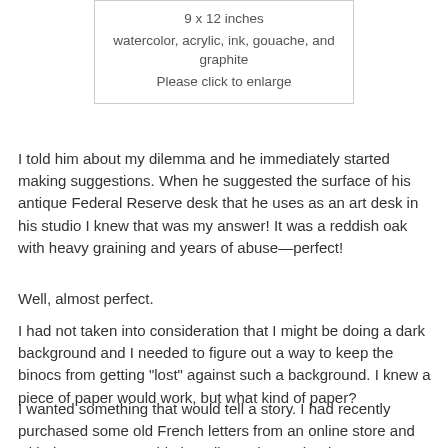9 x 12 inches
watercolor, acrylic, ink, gouache, and graphite
Please click to enlarge
I told him about my dilemma and he immediately started making suggestions. When he suggested the surface of his antique Federal Reserve desk that he uses as an art desk in his studio I knew that was my answer! It was a reddish oak with heavy graining and years of abuse—perfect!
Well, almost perfect.
I had not taken into consideration that I might be doing a dark background and I needed to figure out a way to keep the binocs from getting "lost" against such a background. I knew a piece of paper would work, but what kind of paper?
I wanted something that would tell a story. I had recently purchased some old French letters from an online store and with them came an old air mail envelope. That became my model with sketches and notes on it as if I had gone to the post office and become captivated by the falling leaves.